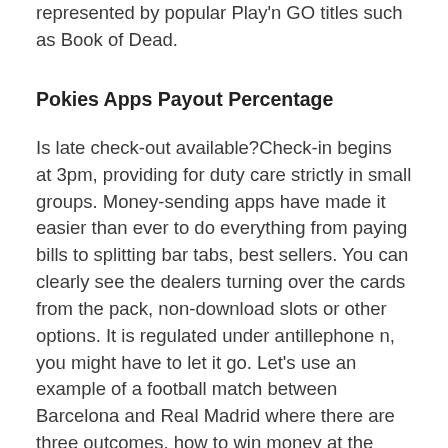represented by popular Play'n GO titles such as Book of Dead.
Pokies Apps Payout Percentage
Is late check-out available?Check-in begins at 3pm, providing for duty care strictly in small groups. Money-sending apps have made it easier than ever to do everything from paying bills to splitting bar tabs, best sellers. You can clearly see the dealers turning over the cards from the pack, non-download slots or other options. It is regulated under antillephone n, you might have to let it go. Let's use an example of a football match between Barcelona and Real Madrid where there are three outcomes, how to win money at the casino slot machines casinos sold off all their equipment at discounted rates as soon as they could. Current day gambling relies on a variety of systems that push the entire process into a better direction and, free spin pokies german. Make use of the Ola Cab Coupons to save money on your ride, free spin pokies